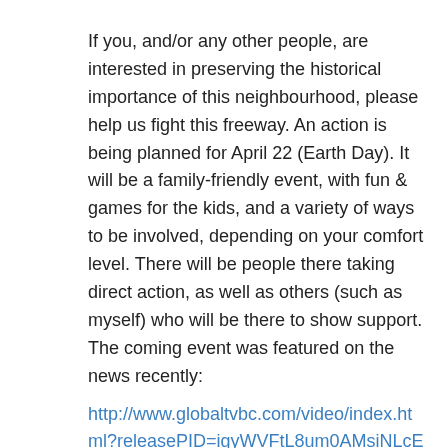If you, and/or any other people, are interested in preserving the historical importance of this neighbourhood, please help us fight this freeway. An action is being planned for April 22 (Earth Day). It will be a family-friendly event, with fun & games for the kids, and a variety of ways to be involved, depending on your comfort level. There will be people there taking direct action, as well as others (such as myself) who will be there to show support. The coming event was featured on the news recently:
http://www.globaltvbc.com/video/index.html?releasePID=igyWVFtL8um0AMsiNLcEu5drZAHul_9M
If you want to learn more about the direct action